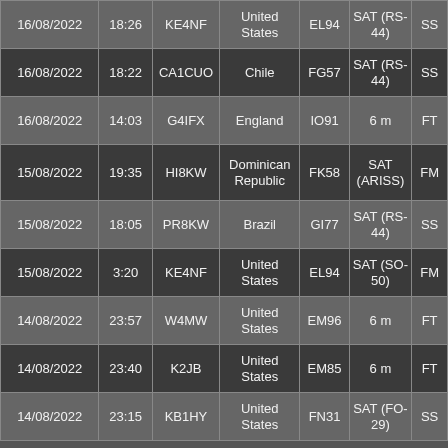| Date | Time | Callsign | Country | Grid | Band/Sat | Mode |
| --- | --- | --- | --- | --- | --- | --- |
| 16/08/2022 | 18:26 | KE4NF | United States | EL94 | SAT (RS-44) | SS |
| 16/08/2022 | 18:22 | CA1CUO | Chile | FG57 | SAT (RS-44) | SS |
| 16/08/2022 | 14:03 | G4IFX | England | IO91 | 6 m | FT |
| 15/08/2022 | 19:35 | HI8KW | Dominican Republic | FK58 | SAT (ARISS) | FM |
| 15/08/2022 | 18:05 | PR8KW | Brazil | GI77 | SAT (RS-44) | SS |
| 15/08/2022 | 3:20 | KE4NF | United States | EL94 | SAT (SO-50) | FM |
| 14/08/2022 | 23:57 | W4MW | United States | EM96 | 6 m | FT |
| 14/08/2022 | 23:40 | K2JB | United States | EM85 | 6 m | FT |
| 14/08/2022 | 23:15 | KB1HY | United States | FN31 | SAT (FO-29) | SS |